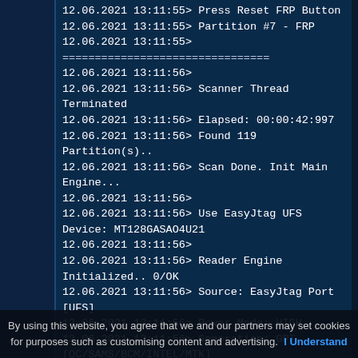[Figure (screenshot): Software log output from EasyJtag forensic/flashing tool showing timestamped operations on a device, including FRP partition detection, scanner thread termination, UFS device initialization, and configuration info. Displayed in a dark blue terminal-style interface.]
By using this website, you agree that we and our partners may set cookies for purposes such as customising content and advertising. I Understand